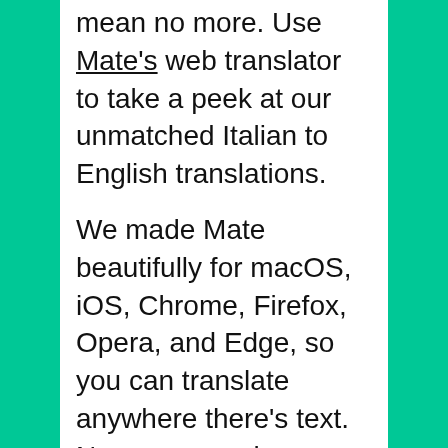mean no more. Use Mate's web translator to take a peek at our unmatched Italian to English translations.
We made Mate beautifully for macOS, iOS, Chrome, Firefox, Opera, and Edge, so you can translate anywhere there's text. No more app, browser tab switching, or copy-pasting.
The most advanced machine translation power right where you need it. Effortlessly translate between Italian, English, and 101 other languages on any website, in any app...